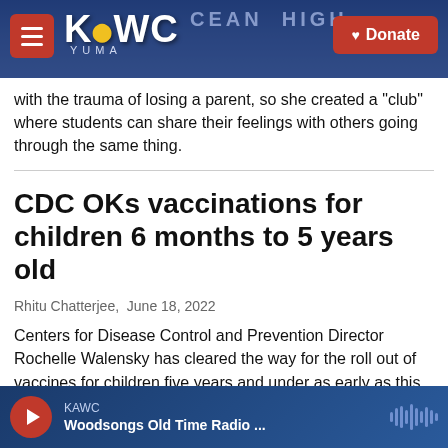KAWC — Donate
with the trauma of losing a parent, so she created a "club" where students can share their feelings with others going through the same thing.
CDC OKs vaccinations for children 6 months to 5 years old
Rhitu Chatterjee,  June 18, 2022
Centers for Disease Control and Prevention Director Rochelle Walensky has cleared the way for the roll out of vaccines for children five years and under as early as this coming week.
KAWC — Woodsongs Old Time Radio ...